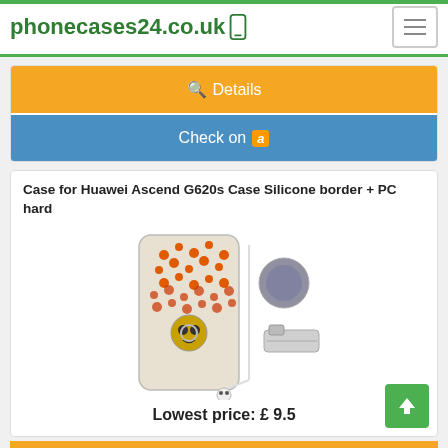phonecases24.co.uk
Details
Check on amazon
Case for Huawei Ascend G620s Case Silicone border + PC hard
[Figure (photo): Product image of a bejeweled phone case with skull design and accessories including a ring holder and phone stand]
Lowest price: £ 9.5